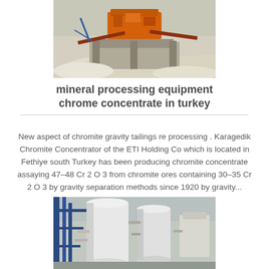[Figure (photo): Outdoor mineral processing / crushing equipment with orange machinery on a concrete structure, conveyor belts, and white mineral piles in the background.]
mineral processing equipment chrome concentrate in turkey
New aspect of chromite gravity tailings re processing . Karagedik Chromite Concentrator of the ETI Holding Co which is located in Fethiye south Turkey has been producing chromite concentrate assaying 47–48 Cr 2 O 3 from chromite ores containing 30–35 Cr 2 O 3 by gravity separation methods since 1920 by gravity...
[Figure (photo): Industrial facility interior with large white cylindrical tanks/silos and blue steel structural supports, suggesting a mineral processing or milling plant.]